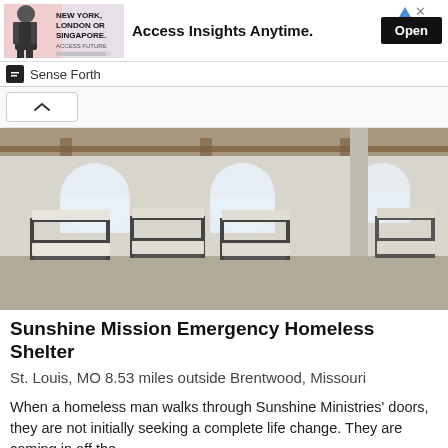[Figure (screenshot): Advertisement banner: man in suit with 'New York, London or Singapore.' text, headline 'Access Insights Anytime.' and 'Open' button]
Sense Forth
[Figure (photo): Interior of a homeless shelter showing rows of metal bunk beds with mattresses in a large room with arched windows. A person in a yellow shirt and blue jeans stands at right.]
Sunshine Mission Emergency Homeless Shelter
St. Louis, MO 8.53 miles outside Brentwood, Missouri
When a homeless man walks through Sunshine Ministries' doors, they are not initially seeking a complete life change. They are coming in off the